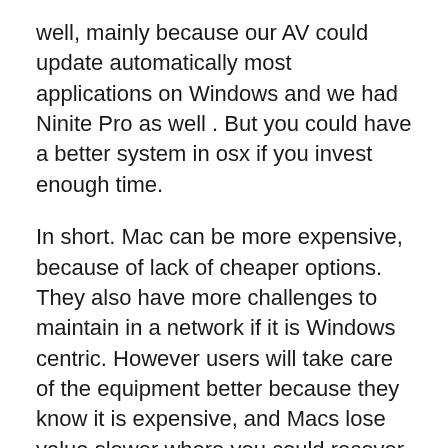well, mainly because our AV could update automatically most applications on Windows and we had Ninite Pro as well . But you could have a better system in osx if you invest enough time.
In short. Mac can be more expensive, because of lack of cheaper options. They also have more challenges to maintain in a network if it is Windows centric. However users will take care of the equipment better because they know it is expensive, and Macs lose value slower where you could recover some cost if you upgrade and resell (even resell to employees). A gotcha to consider is that all Macs and many new light laptops cannot be upgraded on RAM and hard drive. OSX handles a little better with lower RAM then W10 does.In the end, it will be a matter of